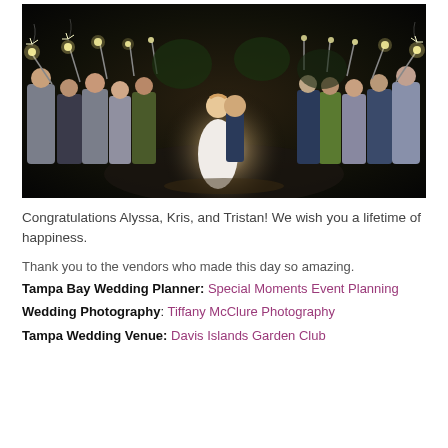[Figure (photo): Wedding couple kissing under sparkler arch at night, surrounded by guests holding sparklers on both sides of a pathway]
Congratulations Alyssa, Kris, and Tristan! We wish you a lifetime of happiness.
Thank you to the vendors who made this day so amazing.
Tampa Bay Wedding Planner: Special Moments Event Planning
Wedding Photography: Tiffany McClure Photography
Tampa Wedding Venue: Davis Islands Garden Club